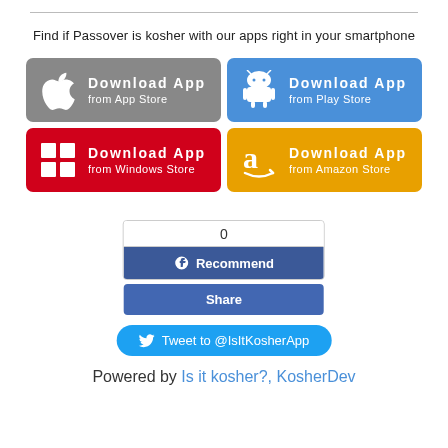Find if Passover is kosher with our apps right in your smartphone
[Figure (infographic): Four app download buttons: Apple App Store (grey), Google Play Store (blue), Windows Store (red), Amazon Store (orange/yellow). Each button has the platform icon and text 'Download App' with the store name below.]
[Figure (infographic): Facebook social widget with count '0', a 'Recommend' button (dark blue), and a 'Share' button (blue). Below is a Twitter 'Tweet to @IsItKosherApp' button (light blue rounded).]
Powered by Is it kosher?, KosherDev